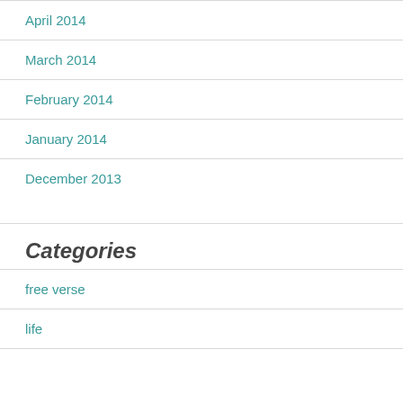April 2014
March 2014
February 2014
January 2014
December 2013
Categories
free verse
life